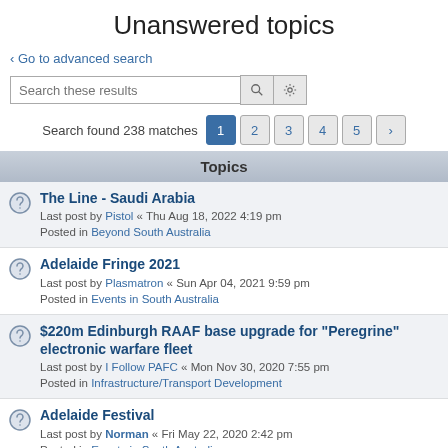Unanswered topics
Go to advanced search
Search these results
Search found 238 matches  1  2  3  4  5  >
Topics
The Line - Saudi Arabia
Last post by Pistol « Thu Aug 18, 2022 4:19 pm
Posted in Beyond South Australia
Adelaide Fringe 2021
Last post by Plasmatron « Sun Apr 04, 2021 9:59 pm
Posted in Events in South Australia
$220m Edinburgh RAAF base upgrade for "Peregrine" electronic warfare fleet
Last post by I Follow PAFC « Mon Nov 30, 2020 7:55 pm
Posted in Infrastructure/Transport Development
Adelaide Festival
Last post by Norman « Fri May 22, 2020 2:42 pm
Posted in Events in South Australia
The RackaRacka youtube channel
Last post by ghs « Mon Mar 16, 2020 11:36 pm
Posted in The Pub
[U/C] Granite Island Causeway
Last post by Spotto « Sat Nov 30, 2019 3:48 am
Posted in Regional Development